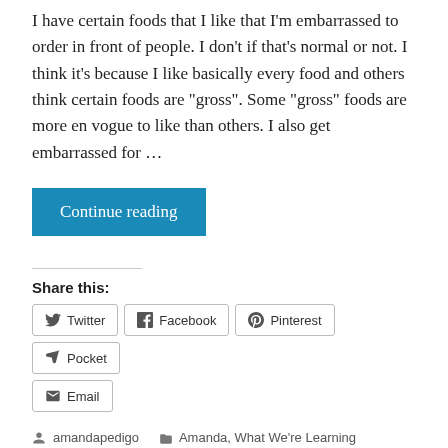I have certain foods that I like that I'm embarrassed to order in front of people. I don't if that's normal or not. I think it's because I like basically every food and others think certain foods are "gross". Some "gross" foods are more en vogue to like than others. I also get embarrassed for …
Continue reading
Share this:
Twitter  Facebook  Pinterest  Pocket  Email
amandapedigo  Amanda, What We're Learning  Leave a comment  September 24, 2019